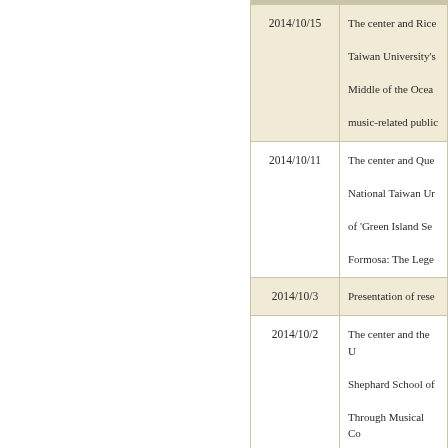| Date | Description |
| --- | --- |
| 2014/10/15 | The center and Rice... Taiwan University's... Middle of the Ocean... music-related public... |
| 2014/10/11 | The center and Que... National Taiwan Ur... of 'Green Island Se... Formosa: The Lege... |
| 2014/10/3 | Presentation of rese... |
| 2014/10/2 | The center and the U... Shephard School of... Through Musical Co... Taiwan," from Octo... |
| 2014/7/16 | Dr. Liau Hsiu-man i... |